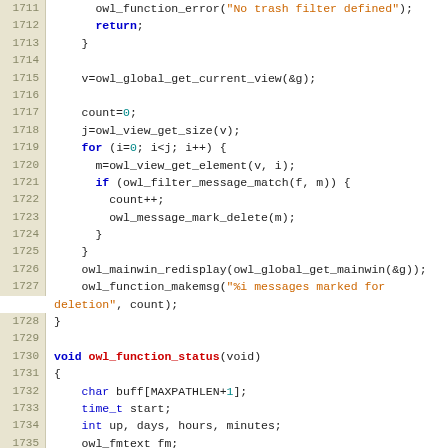[Figure (screenshot): Source code listing in C, lines 1711-1741, showing owl_function_trash and owl_function_status functions with syntax highlighting. Line numbers in tan/beige column on left, keywords in blue bold, strings in orange, numeric literals in teal, function names in red bold.]